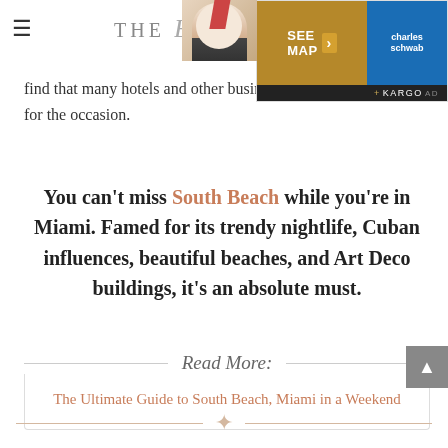THE Blonde ABROAD
find that many hotels and other businesses packages just for the occasion.
You can't miss South Beach while you're in Miami. Famed for its trendy nightlife, Cuban influences, beautiful beaches, and Art Deco buildings, it's an absolute must.
Read More:
The Ultimate Guide to South Beach, Miami in a Weekend